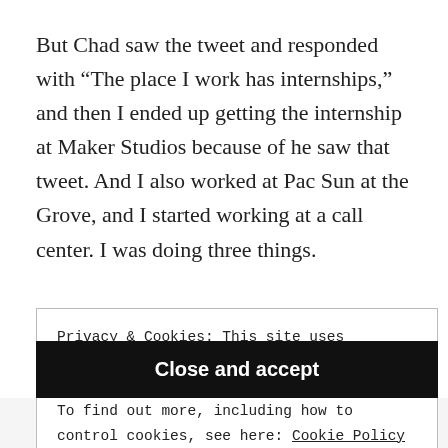But Chad saw the tweet and responded with “The place I work has internships,” and then I ended up getting the internship at Maker Studios because of he saw that tweet. And I also worked at Pac Sun at the Grove, and I started working at a call center. I was doing three things.
Privacy & Cookies: This site uses cookies. By continuing to use this website, you agree to their use.
To find out more, including how to control cookies, see here: Cookie Policy
Close and accept